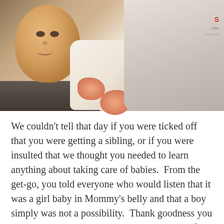[Figure (photo): A child holding a baby doll wrapped in a white blanket with small prints. The child wearing a white shirt with 'Ellie' name tag is partially visible on the right. The baby doll has a realistic face and small hands visible. Dark floor in lower left corner.]
We couldn't tell that day if you were ticked off that you were getting a sibling, or if you were insulted that we thought you needed to learn anything about taking care of babies.  From the get-go, you told everyone who would listen that it was a girl baby in Mommy's belly and that a boy simply was not a possibility.  Thank goodness you were right.  You are not so easily convinced of the things